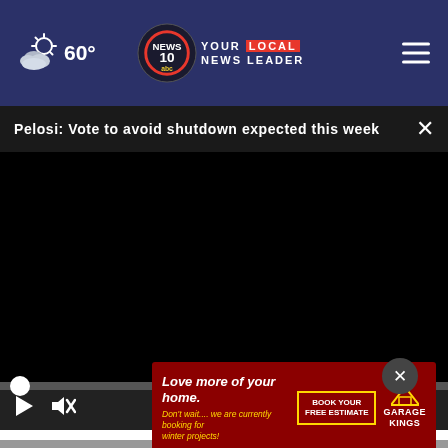60° NEWS10 YOUR LOCAL NEWS LEADER
Pelosi: Vote to avoid shutdown expected this week
[Figure (screenshot): Black video player area with playback controls: play button, mute button, timestamp 00:00, fullscreen button, and a progress bar with white circle thumb at the start.]
The Secret Revealed: Why All Hummingbirds Go to My Neighbor's Garden
[Figure (advertisement): Red advertisement banner reading 'Love more of your home. Don't wait.... we are currently booking for winter projects!' with a gold-bordered 'BOOK YOUR FREE ESTIMATE' button and Garage Kings logo with crown icon.]